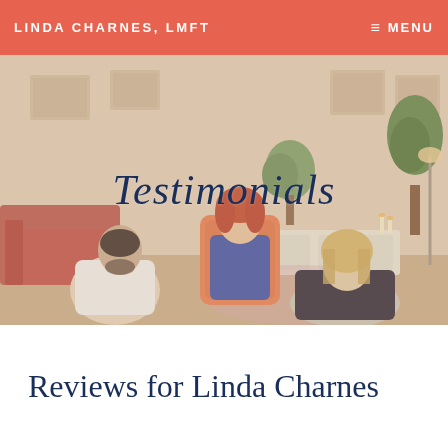LINDA CHARNES, LMFT
[Figure (photo): A therapy session photo showing a woman with red hair (therapist) seated on a chair, with two clients (a man and a woman) seated on the floor in a warm, decorated room with plants and artwork.]
Testimonials
Reviews for Linda Charnes